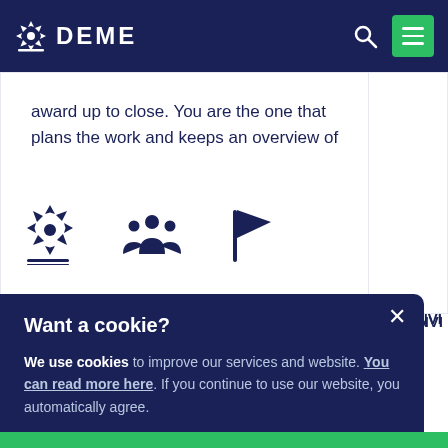DEME
award up to close. You are the one that plans the work and keeps an overview of
[Figure (screenshot): Three navy icons: DEME spiral logo with lines, group of people/team icon, flag icon]
Want a cookie?
We use cookies to improve our services and website. You can read more here. If you continue to use our website, you automatically agree.
SURE, GREAT
NO, THANKS